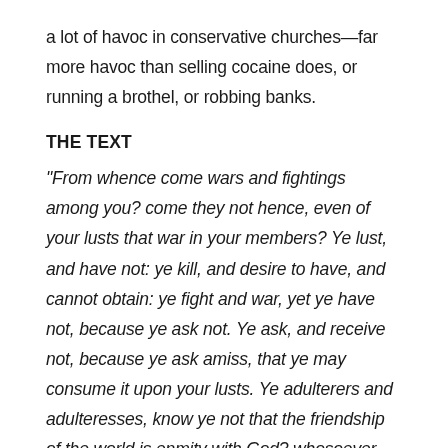a lot of havoc in conservative churches—far more havoc than selling cocaine does, or running a brothel, or robbing banks.
THE TEXT
“From whence come wars and fightings among you? come they not hence, even of your lusts that war in your members? Ye lust, and have not: ye kill, and desire to have, and cannot obtain: ye fight and war, yet ye have not, because ye ask not. Ye ask, and receive not, because ye ask amiss, that ye may consume it upon your lusts. Ye adulterers and adulteresses, know ye not that the friendship of the world is enmity with God? whosoever